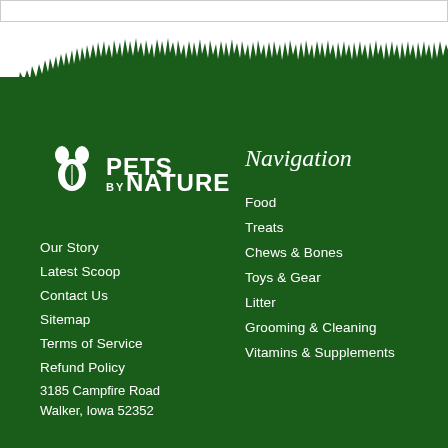[Figure (illustration): Dark green footer background with forest tree silhouette at top, Pets by Nature logo on left, Navigation column on right, address at bottom]
[Figure (logo): Pets by Nature logo: white paw prints and a leaf icon with text PETS BY NATURE]
Navigation
Our Story
Latest Scoop
Contact Us
Sitemap
Terms of Service
Refund Policy
Food
Treats
Chews & Bones
Toys & Gear
Litter
Grooming & Cleaning
Vitamins & Supplements
3185 Campfire Road
Walker, Iowa 52352